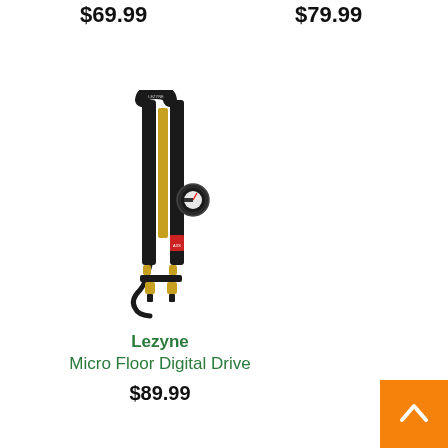$69.99
$79.99
[Figure (photo): Product photo of Lezyne Micro Floor Digital Drive pump — a black and gold compact floor bicycle pump with digital gauge, standing upright]
Lezyne
Micro Floor Digital Drive
$89.99
[Figure (other): Orange back-to-top button with upward chevron arrow in bottom-right corner]